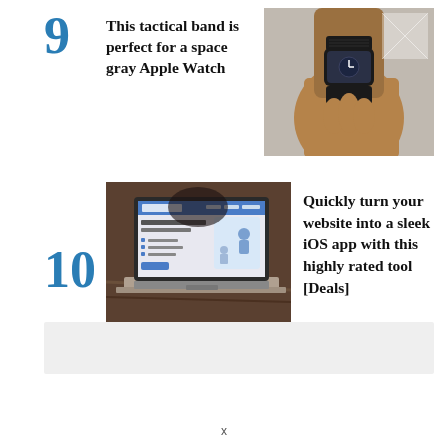9 This tactical band is perfect for a space gray Apple Watch
[Figure (photo): Hand wearing a black tactical Apple Watch band on wrist, gray background]
10 Quickly turn your website into a sleek iOS app with this highly rated tool [Deals]
[Figure (photo): Laptop showing a website/app builder interface on screen, on a wooden table]